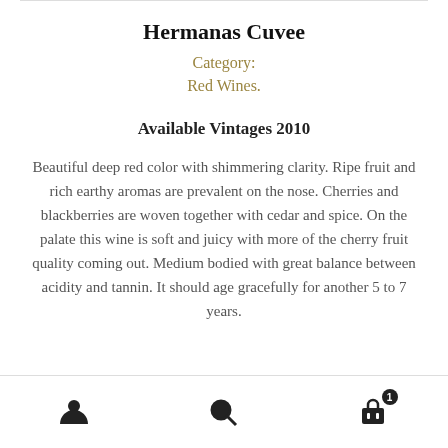Hermanas Cuvee
Category:
Red Wines.
Available Vintages 2010
Beautiful deep red color with shimmering clarity. Ripe fruit and rich earthy aromas are prevalent on the nose. Cherries and blackberries are woven together with cedar and spice. On the palate this wine is soft and juicy with more of the cherry fruit quality coming out. Medium bodied with great balance between acidity and tannin. It should age gracefully for another 5 to 7 years.